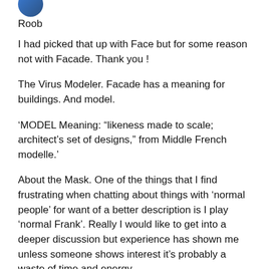[Figure (photo): Partial view of a circular avatar image at top left, partially cropped]
Roob
I had picked that up with Face but for some reason not with Facade. Thank you !
The Virus Modeler. Facade has a meaning for buildings. And model.
‘MODEL Meaning: “likeness made to scale; architect’s set of designs,” from Middle French modelle.’
About the Mask. One of the things that I find frustrating when chatting about things with ‘normal people’ for want of a better description is I play ‘normal Frank’. Really I would like to get into a deeper discussion but experience has shown me unless someone shows interest it’s probably a waste of time and energy.
I suppose if I take the ‘Reflection’ idea to the nth degree